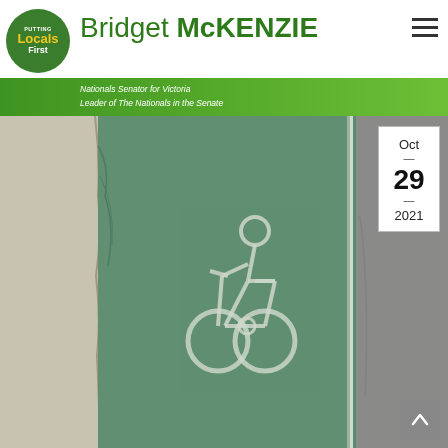[Figure (logo): Putting Locals First circular green logo with yellow text]
Bridget McKENZIE
Nationals Senator for Victoria
Leader of The Nationals in the Senate
[Figure (photo): Aerial/close-up photo of a green bicycle lane with white bicycle marking painted on green asphalt surface, with cracked edge and grey road visible on the right]
Oct
—
29
—
2021